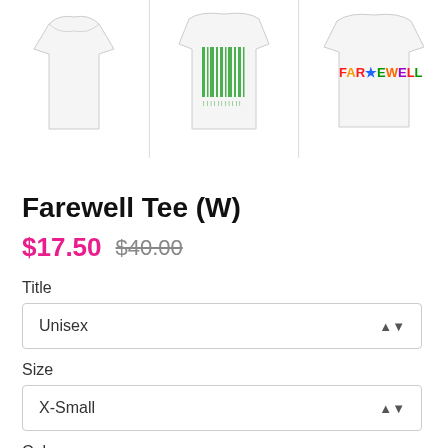[Figure (photo): Three product images of t-shirts: left shows a white women's tee, center shows a white tee with green barcode design, right shows a white tee with colorful 'FAREWELL' text]
Farewell Tee (W)
$17.50  $40.00
Title
Unisex
Size
X-Small
Color